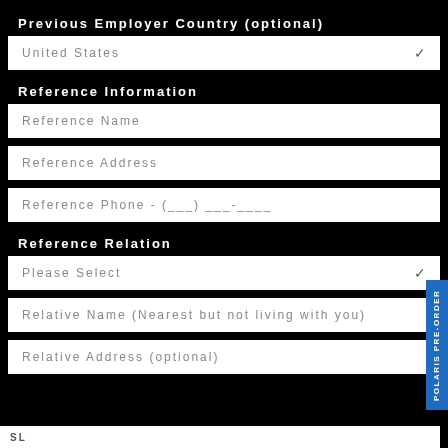Previous Employer Country (optional)
United States
Reference Information
Reference Name
Reference Address
Reference Phone - (___) ___-____
Reference Relation
Please Select
Relative Name (Nearest but not living with you)
Relative Address (optional)